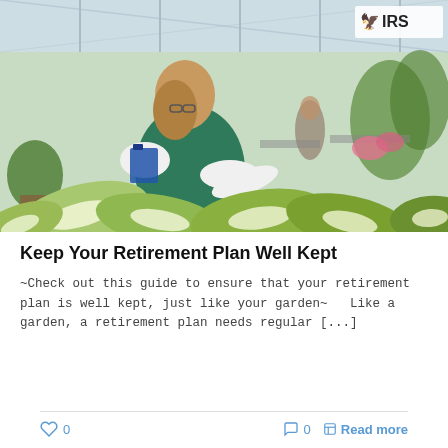[Figure (photo): Woman in green apron and glasses working in a greenhouse, bending over lush green and white tropical plants with a clipboard, greenhouse structure visible in background with more plants and a worker]
Keep Your Retirement Plan Well Kept
~Check out this guide to ensure that your retirement plan is well kept, just like your garden~   Like a garden, a retirement plan needs regular [...]
♡ 0   ○ 0   Read more